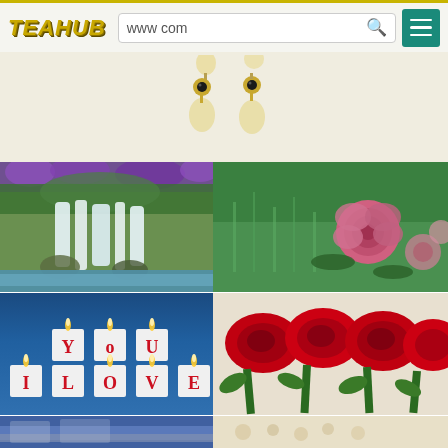TEAHUB — www.com search bar with menu
[Figure (photo): Gold and pearl drop earrings on a light beige background]
[Figure (photo): Waterfall with purple flowers and lush green vegetation]
[Figure (photo): Pink roses and buds growing in green grass]
[Figure (photo): I Love You candles arranged as letter blocks on blue background]
[Figure (photo): Bunch of red roses with green stems and leaves]
[Figure (photo): Blue sky or water partial view at bottom left]
[Figure (photo): Beige/cream background with small items at bottom right]